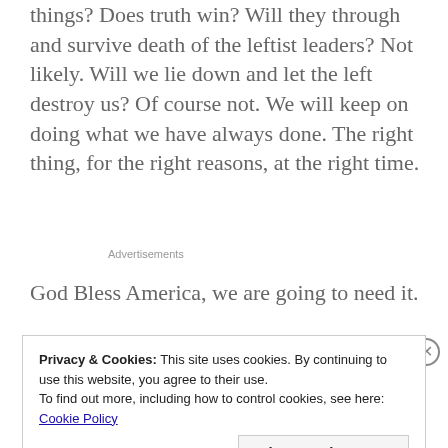things? Does truth win? Will they through and survive death of the leftist leaders? Not likely. Will we lie down and let the left destroy us? Of course not. We will keep on doing what we have always done. The right thing, for the right reasons, at the right time.
Advertisements
God Bless America, we are going to need it.
Privacy & Cookies: This site uses cookies. By continuing to use this website, you agree to their use.
To find out more, including how to control cookies, see here: Cookie Policy